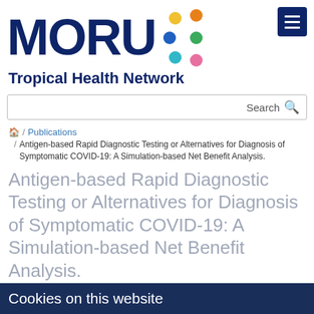[Figure (logo): MORU Tropical Health Network logo with colorful dots and dark navy text]
Search
🏠 / Publications / Antigen-based Rapid Diagnostic Testing or Alternatives for Diagnosis of Symptomatic COVID-19: A Simulation-based Net Benefit Analysis.
Antigen-based Rapid Diagnostic Testing or Alternatives for Diagnosis of Symptomatic COVID-19: A Simulation-based Net Benefit Analysis.
Kendall EA., Arinaminpathy N., Sacks JA., Manabe YC., Dittrich
Cookies on this website